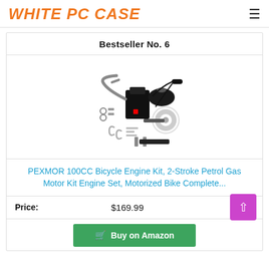WHITE PC CASE
Bestseller No. 6
[Figure (photo): Product photo showing a 100CC bicycle engine kit with 2-stroke petrol gas motor components spread out on a white background]
PEXMOR 100CC Bicycle Engine Kit, 2-Stroke Petrol Gas Motor Kit Engine Set, Motorized Bike Complete...
Price: $169.99
Buy on Amazon